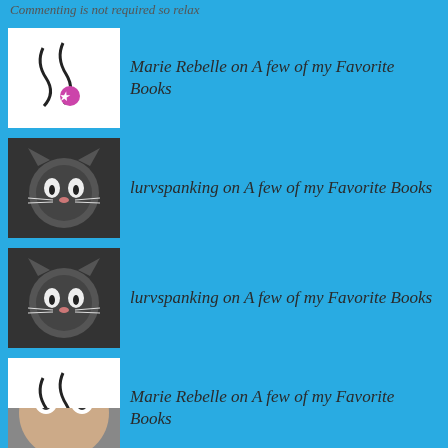Commenting is not required so relax
Marie Rebelle on A few of my Favorite Books
lurvspanking on A few of my Favorite Books
lurvspanking on A few of my Favorite Books
Marie Rebelle on A few of my Favorite Books
Mrs Fever on A few of my Favorite Books
lurvspanking on The fine line between pleasure...
missy on The fine line between pleasure...
[Figure (photo): Partial avatar image at bottom of page]